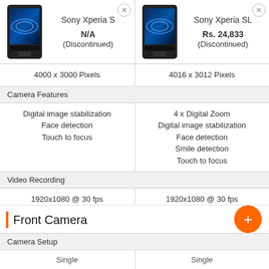| Sony Xperia S | Sony Xperia SL |
| --- | --- |
| N/A (Discontinued) | Rs. 24,833 (Discontinued) |
| 4000 x 3000 Pixels | 4016 x 3012 Pixels |
| Camera Features | Camera Features |
| Digital image stabilization
Face detection
Touch to focus | 4 x Digital Zoom
Digital image stabilization
Face detection
Smile detection
Touch to focus |
| Video Recording | Video Recording |
| 1920x1080 @ 30 fps | 1920x1080 @ 30 fps |
Front Camera
Camera Setup
Single
Single